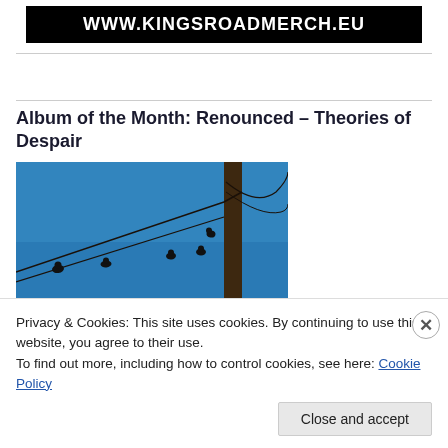WWW.KINGSROADMERCH.EU
Album of the Month: Renounced – Theories of Despair
[Figure (photo): Birds sitting on power lines against a blue sky, with a utility pole on the right side of the frame.]
Privacy & Cookies: This site uses cookies. By continuing to use this website, you agree to their use.
To find out more, including how to control cookies, see here: Cookie Policy
Close and accept